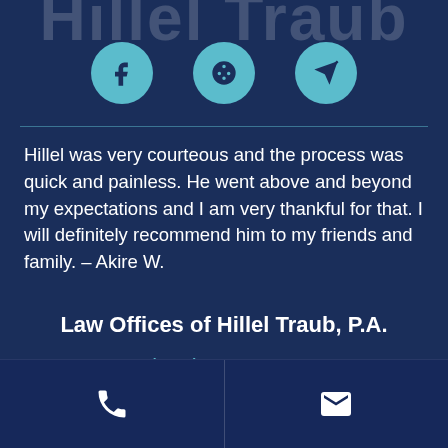[Figure (logo): Partially cropped text logo 'Hillel Traub' in large semi-transparent letters at top]
[Figure (infographic): Three teal circle social media icons: Facebook (f), Yelp (asterisk/star), and a send/arrow icon]
Hillel was very courteous and the process was quick and painless. He went above and beyond my expectations and I am very thankful for that. I will definitely recommend him to my friends and family. – Akire W.
Law Offices of Hillel Traub, P.A.
(410) 580-1100
[Figure (infographic): Bottom bar with two sections: phone handset icon on the left and envelope/email icon on the right, separated by a vertical line]